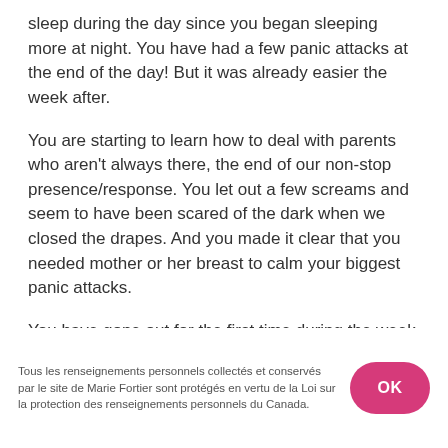sleep during the day since you began sleeping more at night. You have had a few panic attacks at the end of the day! But it was already easier the week after.
You are starting to learn how to deal with parents who aren't always there, the end of our non-stop presence/response. You let out a few screams and seem to have been scared of the dark when we closed the drapes. And you made it clear that you needed mother or her breast to calm your biggest panic attacks.
You have gone out for the first time during the week with mom and dad. Downtown in the baby carrier, along the canal in your new
Tous les renseignements personnels collectés et conservés par le site de Marie Fortier sont protégés en vertu de la Loi sur la protection des renseignements personnels du Canada.